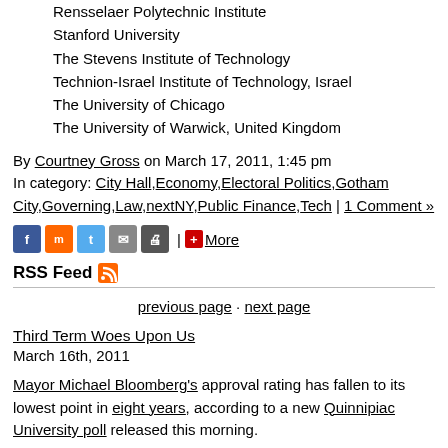Rensselaer Polytechnic Institute
Stanford University
The Stevens Institute of Technology
Technion-Israel Institute of Technology, Israel
The University of Chicago
The University of Warwick, United Kingdom
By Courtney Gross on March 17, 2011, 1:45 pm
In category: City Hall,Economy,Electoral Politics,Gotham City,Governing,Law,nextNY,Public Finance,Tech | 1 Comment »
RSS Feed
previous page · next page
Third Term Woes Upon Us
March 16th, 2011
Mayor Michael Bloomberg's approval rating has fallen to its lowest point in eight years, according to a new Quinnipiac University poll released this morning.
More than half of New York City voters — 51 percent to be exact — disapprove of the job the mayor is doing, while 39 percent approve